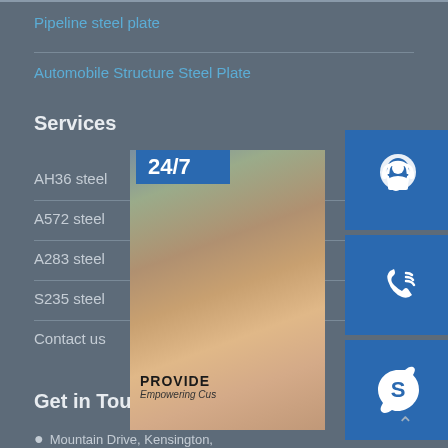Pipeline steel plate
Automobile Structure Steel Plate
Services
AH36 steel
A572 steel
A283 steel
S235 steel
Contact us
[Figure (infographic): Customer service widget showing a woman with a headset, 24/7 badge, icons for headset, phone, and Skype, and an 'online live' button. Text includes 'PROVIDE' and 'Empowering Cus'.]
Get in Touch
Mountain Drive, Kensington,